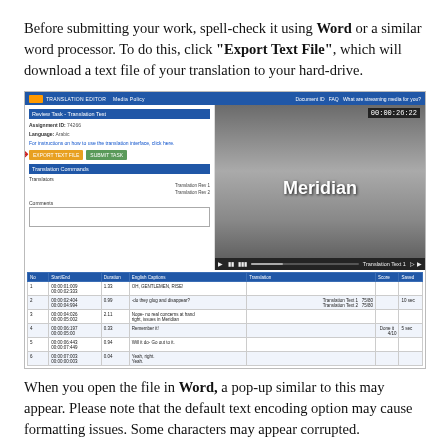Before submitting your work, spell-check it using Word or a similar word processor. To do this, click "Export Text File", which will download a text file of your translation to your hard-drive.
[Figure (screenshot): Screenshot of a translation editor interface showing a left panel with assignment details and Export Text File / Submit Task buttons (with red arrow pointing to Export Text File), a video panel showing a black-and-white street scene with the title 'Meridian' and a timer reading 00:00:26:22, and below both panels a subtitle table with columns for No, Start/End, Duration, English Captions, Translation, and Score.]
When you open the file in Word, a pop-up similar to this may appear. Please note that the default text encoding option may cause formatting issues. Some characters may appear corrupted.